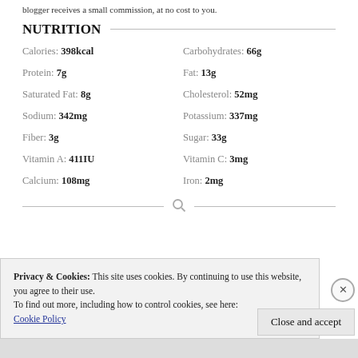blogger receives a small commission, at no cost to you.
NUTRITION
| Nutrient | Value | Nutrient | Value |
| --- | --- | --- | --- |
| Calories: | 398kcal | Carbohydrates: | 66g |
| Protein: | 7g | Fat: | 13g |
| Saturated Fat: | 8g | Cholesterol: | 52mg |
| Sodium: | 342mg | Potassium: | 337mg |
| Fiber: | 3g | Sugar: | 33g |
| Vitamin A: | 411IU | Vitamin C: | 3mg |
| Calcium: | 108mg | Iron: | 2mg |
Privacy & Cookies: This site uses cookies. By continuing to use this website, you agree to their use.
To find out more, including how to control cookies, see here: Cookie Policy
Close and accept